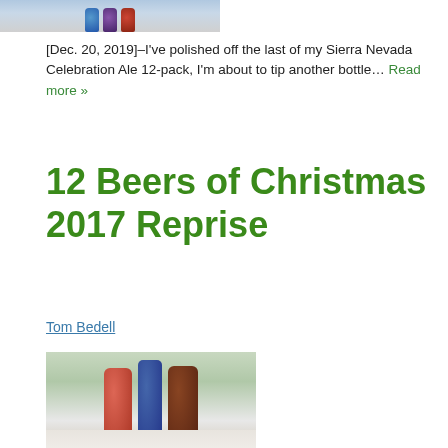[Figure (photo): Partial view of Christmas beer bottles at the top of the page]
[Dec. 20, 2019]–I've polished off the last of my Sierra Nevada Celebration Ale 12-pack, I'm about to tip another bottle… Read more »
12 Beers of Christmas 2017 Reprise
Tom Bedell
[Figure (photo): Three Christmas beer bottles standing in snow with forest background]